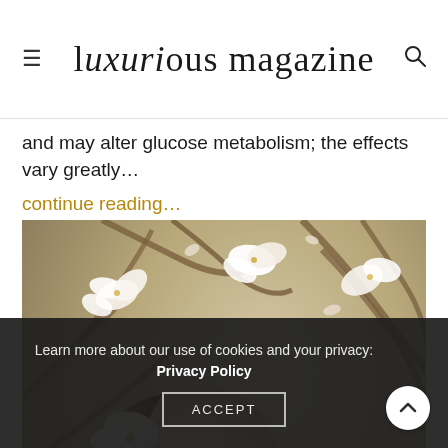luxurious magazine
and may alter glucose metabolism; the effects vary greatly…
continue reading…
[Figure (photo): Young woman with long brown hair and red lipstick looking up, surrounded by white magnolia blossoms on tree branches]
Learn more about our use of cookies and your privacy: Privacy Policy ACCEPT